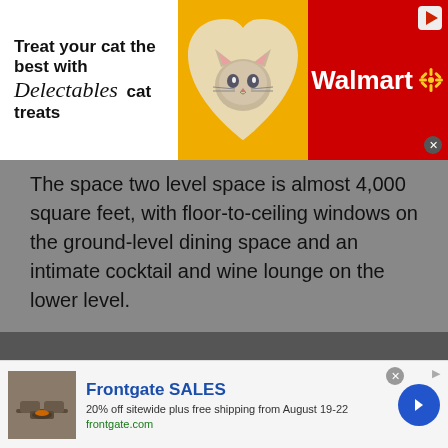[Figure (other): Top advertisement banner: 'Treat your cat the best with Delectables cat treats' with a cat photo and Walmart branding on red background]
The space two level space is almost 4,000 square feet, with floor-to-ceiling windows on the ground-level dining space and an intimate cocktail and wine lounge on the lower level.
Felice's extensive drink menu will include several Negroni cocktails and a build-your-own-Negroni option.
Here are some menu highlights (all photos c/o Felice):
[Figure (photo): Partial view of a restaurant photo (bottom of page, cut off)]
[Figure (other): Bottom advertisement: Frontgate SALES - 20% off sitewide plus free shipping from August 19-22, frontgate.com]